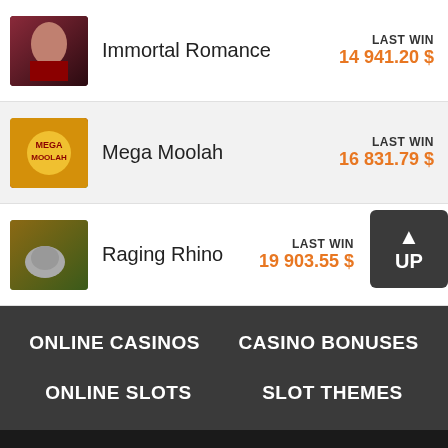Immortal Romance – LAST WIN 14 941.20 $
Mega Moolah – LAST WIN 16 831.79 $
Raging Rhino – LAST WIN 19 903.55 $
ONLINE CASINOS
CASINO BONUSES
ONLINE SLOTS
SLOT THEMES
Rating: 4.4/5 ★★★★☆ Votes: 90 ❤
Copyright © happy-gambler.com 2022 All rights reserved